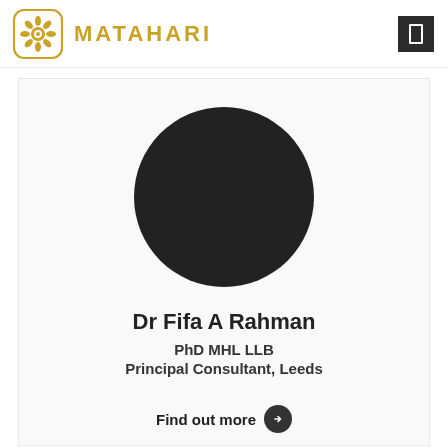[Figure (logo): Matahari logo: decorative floral/sunflower icon in gold border, next to the text MATAHARI in gold capital letters]
[Figure (photo): Circular profile photo placeholder — solid dark circle representing a person's headshot]
Dr Fifa A Rahman
PhD MHL LLB
Principal Consultant, Leeds
Find out more →